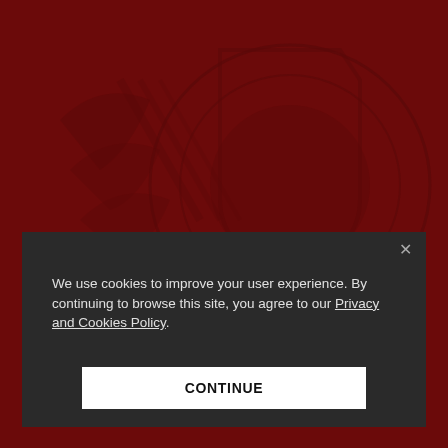[Figure (illustration): Dark crimson red background with a stylized abstract logo or emblem visible as darker shapes — appears to be a university or organization seal/logo rendered in dark red tones creating a subtle pattern.]
We use cookies to improve your user experience. By continuing to browse this site, you agree to our Privacy and Cookies Policy.
CONTINUE